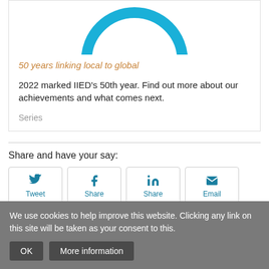[Figure (illustration): Partial blue circle/ring graphic (50th anniversary logo), cropped at top]
50 years linking local to global
2022 marked IIED's 50th year. Find out more about our achievements and what comes next.
Series
Share and have your say:
[Figure (infographic): Four social share buttons: Tweet (Twitter), Share (Facebook), Share (LinkedIn), Email]
We use cookies to help improve this website. Clicking any link on this site will be taken as your consent to this.